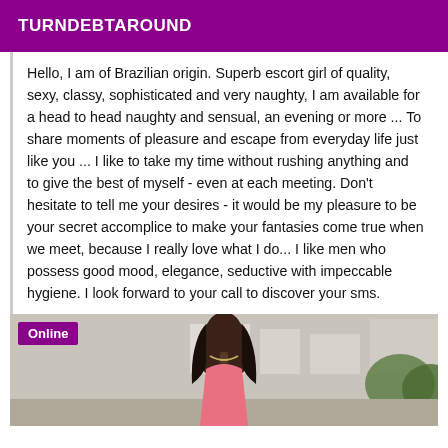TURNDEBTAROUND
Hello, I am of Brazilian origin. Superb escort girl of quality, sexy, classy, sophisticated and very naughty, I am available for a head to head naughty and sensual, an evening or more ... To share moments of pleasure and escape from everyday life just like you ... I like to take my time without rushing anything and to give the best of myself - even at each meeting. Don't hesitate to tell me your desires - it would be my pleasure to be your secret accomplice to make your fantasies come true when we meet, because I really love what I do... I like men who possess good mood, elegance, seductive with impeccable hygiene. I look forward to your call to discover your sms.
[Figure (photo): Photo of a woman with long dark hair wearing a pink halter top, with outdoor background. An 'Online' badge appears in the top-left corner.]